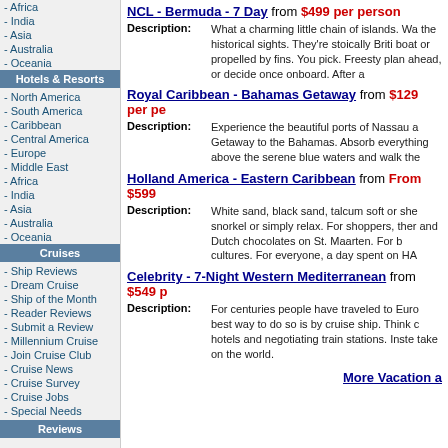- Africa
- India
- Asia
- Australia
- Oceania
Hotels & Resorts
- North America
- South America
- Caribbean
- Central America
- Europe
- Middle East
- Africa
- India
- Asia
- Australia
- Oceania
Cruises
- Ship Reviews
- Dream Cruise
- Ship of the Month
- Reader Reviews
- Submit a Review
- Millennium Cruise
- Join Cruise Club
- Cruise News
- Cruise Survey
- Cruise Jobs
- Special Needs
NCL - Bermuda - 7 Day from $499 per person
Description: What a charming little chain of islands. Wa... the historical sights. They're stoically Briti... boat or propelled by fins. You pick. Freesty... plan ahead, or decide once onboard. After a...
Royal Caribbean - Bahamas Getaway from $129 per pe...
Description: Experience the beautiful ports of Nassau a... Getaway to the Bahamas. Absorb everything... above the serene blue waters and walk the...
Holland America - Eastern Caribbean from From $599...
Description: White sand, black sand, talcum soft or she... snorkel or simply relax. For shoppers, ther... and Dutch chocolates on St. Maarten. For h... cultures. For everyone, a day spent on HA...
Celebrity - 7-Night Western Mediterranean from $549 p...
Description: For centuries people have traveled to Euro... best way to do so is by cruise ship. Think c... hotels and negotiating train stations. Inste... take on the world.
More Vacation a...